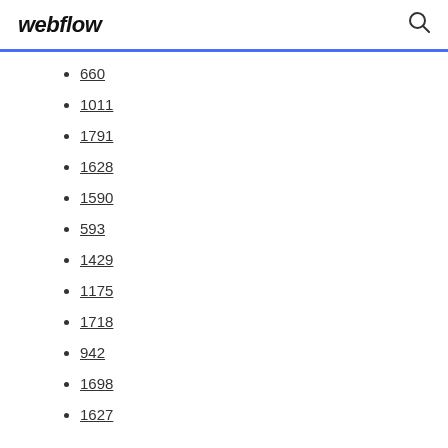webflow
660
1011
1791
1628
1590
593
1429
1175
1718
942
1698
1627